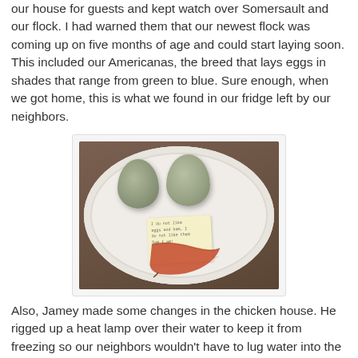our house for guests and kept watch over Somersault and our flock. I had warned them that our newest flock was coming up on five months of age and could start laying soon. This included our Americanas, the breed that lays eggs in shades that range from green to blue. Sure enough, when we got home, this is what we found in our fridge left by our neighbors.
[Figure (photo): A paper plate holding two greenish-gray eggs, a handwritten note, and a piece of cured meat (bacon or ham), placed on a dark brown wooden surface.]
Also, Jamey made some changes in the chicken house. He rigged up a heat lamp over their water to keep it from freezing so our neighbors wouldn't have to lug water into the